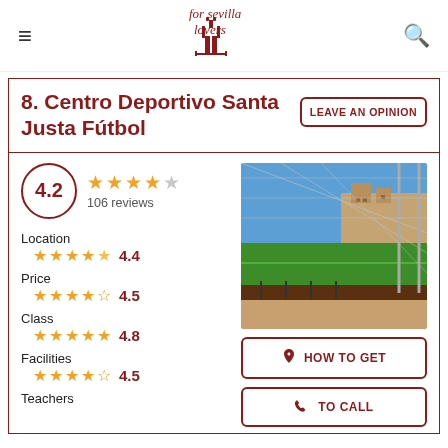for sevilla lovers
8. Centro Deportivo Santa Justa Fútbol
LEAVE AN OPINION
[Figure (photo): Outdoor football pitch with large net structure, metal fencing, red brick wall and building in background under blue sky]
4.2
106 reviews
Location
4.4
Price
4.5
Class
4.8
Facilities
4.5
Teachers
HOW TO GET
TO CALL